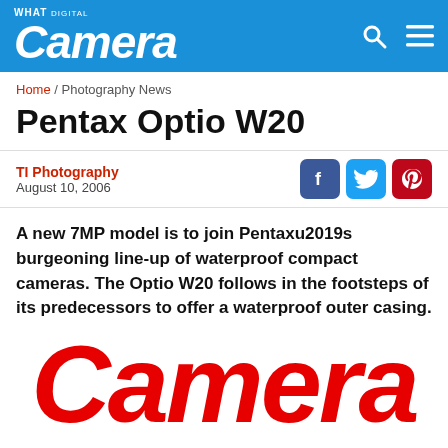What Digital Camera — header bar with logo and navigation icons
Home / Photography News
Pentax Optio W20
TI Photography
August 10, 2006
A new 7MP model is to join Pentaxu2019s burgeoning line-up of waterproof compact cameras. The Optio W20 follows in the footsteps of its predecessors to offer a waterproof outer casing.
[Figure (logo): Large red 'Camera' logo text in bold italic style]